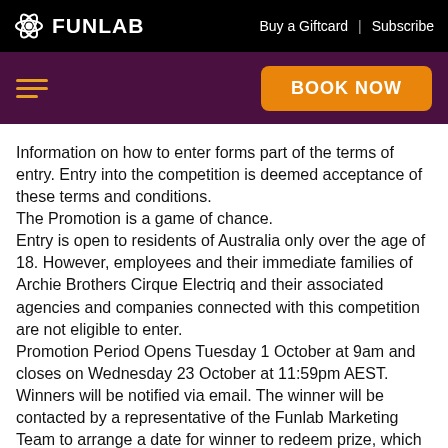FUNLAB | Buy a Giftcard | Subscribe
Information on how to enter forms part of the terms of entry. Entry into the competition is deemed acceptance of these terms and conditions.
The Promotion is a game of chance.
Entry is open to residents of Australia only over the age of 18. However, employees and their immediate families of Archie Brothers Cirque Electriq and their associated agencies and companies connected with this competition are not eligible to enter.
Promotion Period Opens Tuesday 1 October at 9am and closes on Wednesday 23 October at 11:59pm AEST.
Winners will be notified via email. The winner will be contacted by a representative of the Funlab Marketing Team to arrange a date for winner to redeem prize, which will occur no later than Thursday 24 October, 5pm
To enter, participants must sign up to the Archie Brothers Cirque Electriq database via form on